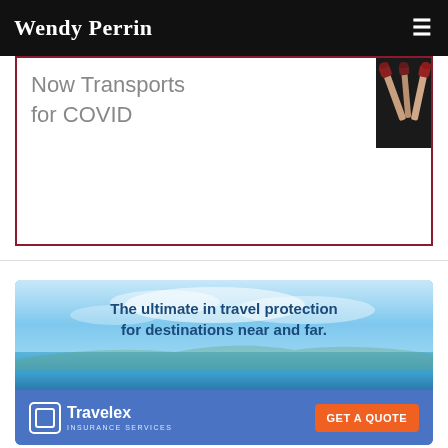Wendy Perrin
[Figure (screenshot): Partial advertisement with dark red border showing text 'Now Transports for COVID' and makeup brushes image in top right corner]
[Figure (infographic): Travelex Insurance Services advertisement with sky and sea background. Text: 'The ultimate in travel protection for destinations near and far.' Bottom bar shows Travelex Insurance Services logo and orange GET A QUOTE button.]